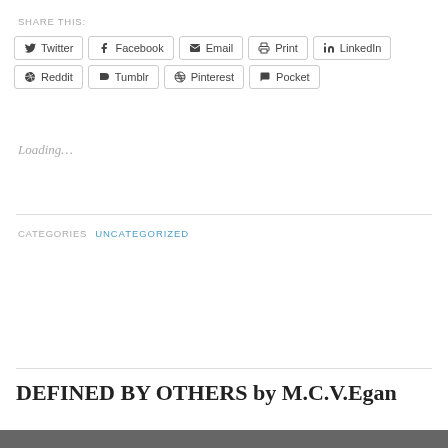SHARE THIS:
Twitter | Facebook | Email | Print | LinkedIn | Reddit | Tumblr | Pinterest | Pocket
Loading...
CATEGORIES  UNCATEGORIZED
DEFINED BY OTHERS by M.C.V.Egan